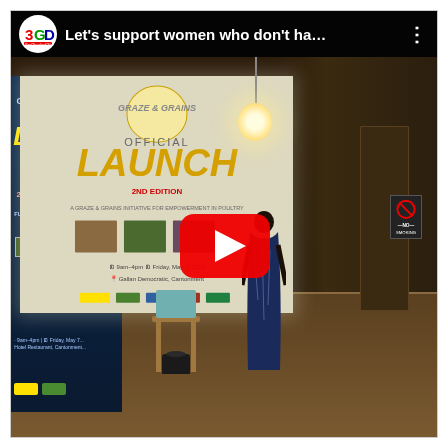[Figure (screenshot): YouTube video thumbnail/player showing a woman presenting at an event. A projector screen behind her displays 'OFFICIAL LAUNCH 2ND EDITION' slides. Top bar shows channel logo (3GD) and title 'Let’s support women who don’t ha...' with a three-dot menu. A large red play button is centered. The room has a wooden floor, a hanging globe lamp, a no-smoking sign, a door on the right, and a chair in the foreground.]